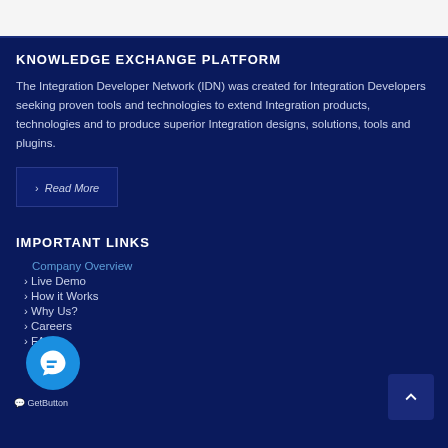KNOWLEDGE EXCHANGE PLATFORM
The Integration Developer Network (IDN) was created for Integration Developers seeking proven tools and technologies to extend Integration products, technologies and to produce superior Integration designs, solutions, tools and plugins.
> Read More
IMPORTANT LINKS
Company Overview
> Live Demo
> How it Works
> Why Us?
> Careers
> FAQ's